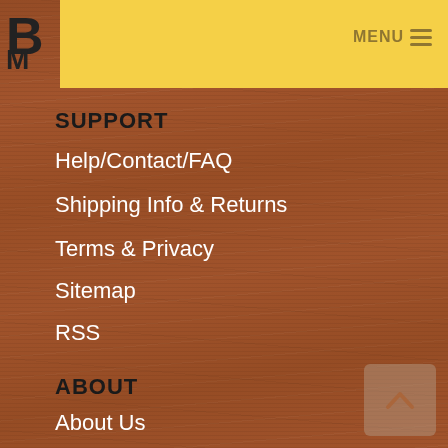B... M...
SUPPORT
Help/Contact/FAQ
Shipping Info & Returns
Terms & Privacy
Sitemap
RSS
ABOUT
About Us
Careers
Blog